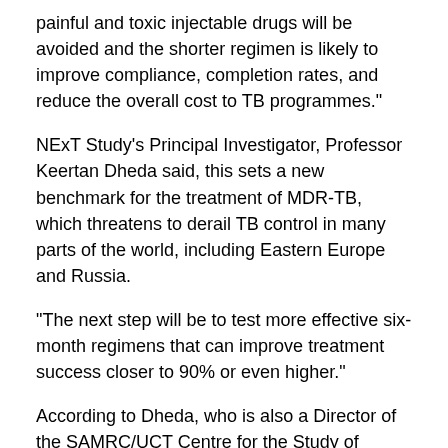painful and toxic injectable drugs will be avoided and the shorter regimen is likely to improve compliance, completion rates, and reduce the overall cost to TB programmes."
NExT Study’s Principal Investigator, Professor Keertan Dheda said, this sets a new benchmark for the treatment of MDR-TB, which threatens to derail TB control in many parts of the world, including Eastern Europe and Russia.
"The next step will be to test more effective six-month regimens that can improve treatment success closer to 90% or even higher."
According to Dheda, who is also a Director of the SAMRC/UCT Centre for the Study of Antimicrobial Resistance Research Unit, 60% of the world’s MDR-TB patients have no access to treatment, while the rest in many TB endemic countries have zero access to the newer drugs.